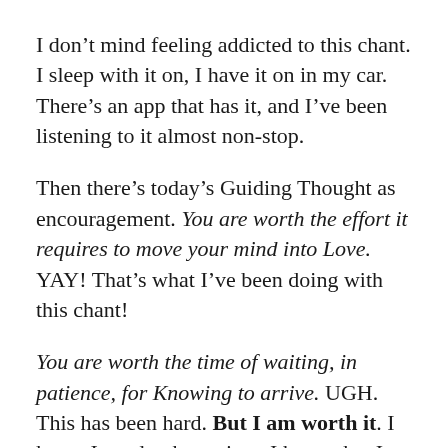I don't mind feeling addicted to this chant. I sleep with it on, I have it on in my car. There's an app that has it, and I've been listening to it almost non-stop.
Then there's today's Guiding Thought as encouragement. You are worth the effort it requires to move your mind into Love. YAY! That's what I've been doing with this chant!
You are worth the time of waiting, in patience, for Knowing to arrive. UGH. This has been hard. But I am worth it. I know I need to be patient. I know that I need to wait...but there's this spinning, and this panic... >sigh< Just today, I had a moment of insight, though. My thought